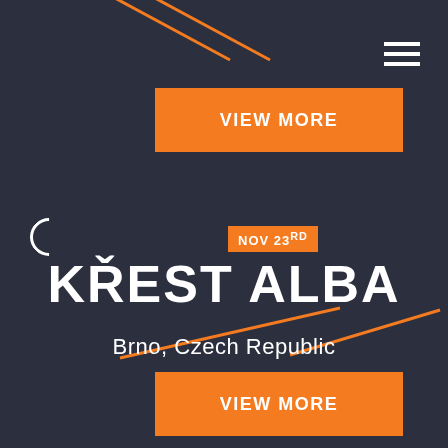[Figure (illustration): Dark navy background with decorative orange diagonal lines, white hamburger menu icon top right, small white arc/circle decoration left side, and geometric orange line decorations at bottom]
VIEW MORE
NOV 23RD
KŘEST ALBA
Brno, Czech Republic
VIEW MORE